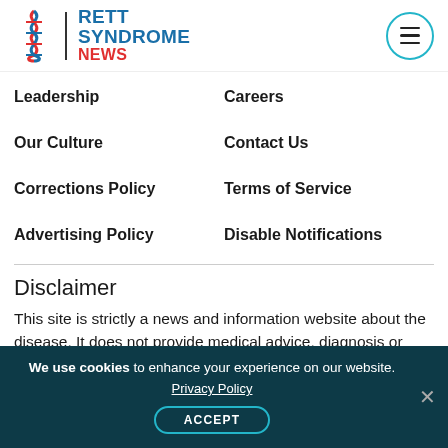Rett Syndrome News
Leadership
Careers
Our Culture
Contact Us
Corrections Policy
Terms of Service
Advertising Policy
Disable Notifications
Disclaimer
This site is strictly a news and information website about the disease. It does not provide medical advice, diagnosis or treatment. This content is not
We use cookies to enhance your experience on our website. Privacy Policy ACCEPT